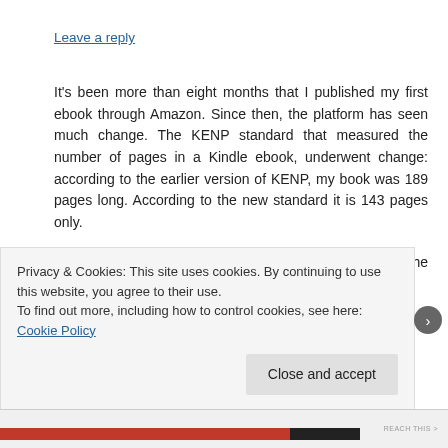Leave a reply
It’s been more than eight months that I published my first ebook through Amazon. Since then, the platform has seen much change. The KENP standard that measured the number of pages in a Kindle ebook, underwent change: according to the earlier version of KENP, my book was 189 pages long. According to the new standard it is 143 pages only.
That of course means that I am no longer getting the amount I used to get when a reader read my book through
Privacy & Cookies: This site uses cookies. By continuing to use this website, you agree to their use.
To find out more, including how to control cookies, see here: Cookie Policy
Close and accept